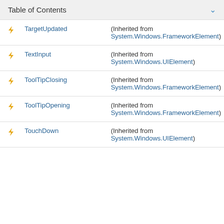Table of Contents
|  | Name | Description |
| --- | --- | --- |
| ⚡ | TargetUpdated | (Inherited from System.Windows.FrameworkElement) |
| ⚡ | TextInput | (Inherited from System.Windows.UIElement) |
| ⚡ | ToolTipClosing | (Inherited from System.Windows.FrameworkElement) |
| ⚡ | ToolTipOpening | (Inherited from System.Windows.FrameworkElement) |
| ⚡ | TouchDown | (Inherited from System.Windows.UIElement) |